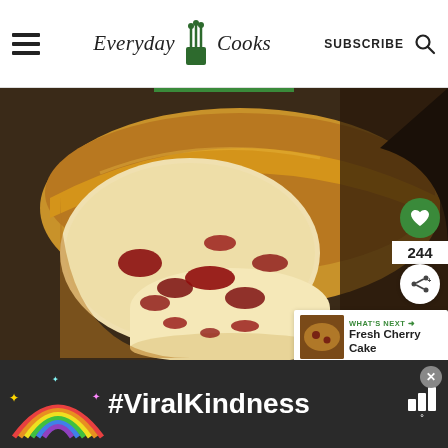Everyday Cooks | SUBSCRIBE
[Figure (photo): Close-up photo of sliced cherry bread/cake showing golden-brown crust and red cherry pieces inside the pale crumb, with one thick slice in the foreground and the loaf behind]
244
WHAT'S NEXT → Fresh Cherry Cake
#ViralKindness